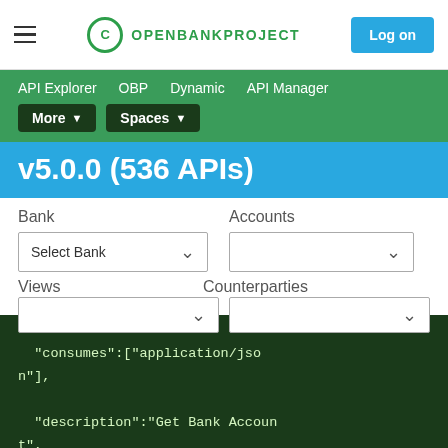Open Bank Project - Log on
API Explorer  OBP  Dynamic  API Manager  More  Spaces
v5.0.0 (536 APIs)
Bank  Accounts  Select Bank  Views  Counterparties
"consumes":["application/json"],
"description":"Get Bank Account",
"summary":"Get Bank Account by